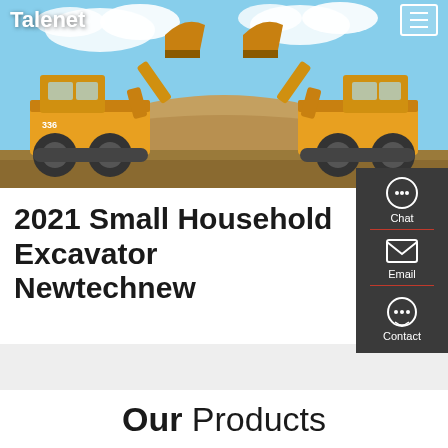Talenet
[Figure (photo): Two large yellow wheel loaders / excavators facing each other symmetrically with raised buckets against a blue sky and sandy terrain background]
2021 Small Household Excavator Newtechnew
[Figure (infographic): Sidebar widget with Chat, Email, and Contact icons on dark grey background]
Our Products